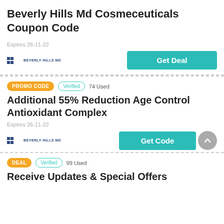Beverly Hills Md Cosmeceuticals Coupon Code
Expires 28-11-22
Get Deal
PROMO CODE  Verified  74 Used
Additional 55% Reduction Age Control Antioxidant Complex
Expires 26-11-22
Get Code
DEAL  Verified  99 Used
Receive Updates & Special Offers